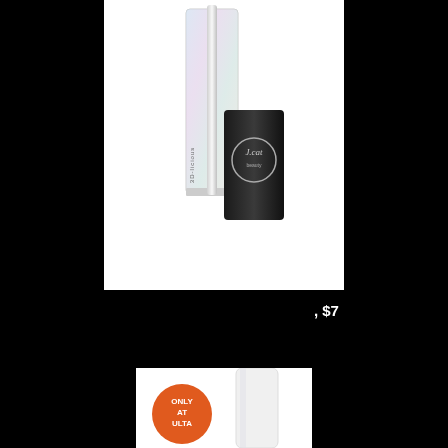[Figure (photo): J. Cat 3D-licious Holographic Lip Cream product photo showing a clear holographic lip gloss tube with applicator and black cap with J.cat beauty logo on white background]
J. Cat 3D-licious Holographic Lip Cream, $7
[Figure (photo): Product photo on white background with orange 'Only at Ulta' badge in lower left corner, showing a white cylindrical product]